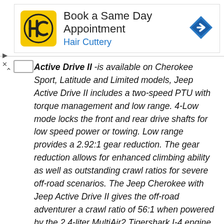[Figure (infographic): Advertisement banner for Hair Cuttery: yellow logo with HC letters, text 'Book a Same Day Appointment' and 'Hair Cuttery', blue diamond navigation icon on right]
Active Drive II -is available on Cherokee Sport, Latitude and Limited models, Jeep Active Drive II includes a two-speed PTU with torque management and low range. 4-Low mode locks the front and rear drive shafts for low speed power or towing. Low range provides a 2.92:1 gear reduction. The gear reduction allows for enhanced climbing ability as well as outstanding crawl ratios for severe off-road scenarios. The Jeep Cherokee with Jeep Active Drive II gives the off-road adventurer a crawl ratio of 56:1 when powered by the 2.4-liter MultiAir2 Tigershark I-4 engine, and 47.8:1 when powered by the new 3.2-liter Pentastar V-6 engine, which provides up to a 90-percent improvement over the outgoing Liberty. Jeep Active Drive II works in conjunction with the